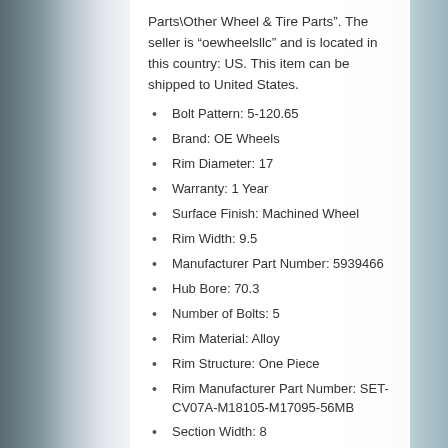Parts\Other Wheel & Tire Parts". The seller is "oewheelsllc" and is located in this country: US. This item can be shipped to United States.
Bolt Pattern: 5-120.65
Brand: OE Wheels
Rim Diameter: 17
Warranty: 1 Year
Surface Finish: Machined Wheel
Rim Width: 9.5
Manufacturer Part Number: 5939466
Hub Bore: 70.3
Number of Bolts: 5
Rim Material: Alloy
Rim Structure: One Piece
Rim Manufacturer Part Number: SET-CV07A-M18105-M17095-56MB
Section Width: 8
Offset: 54.0